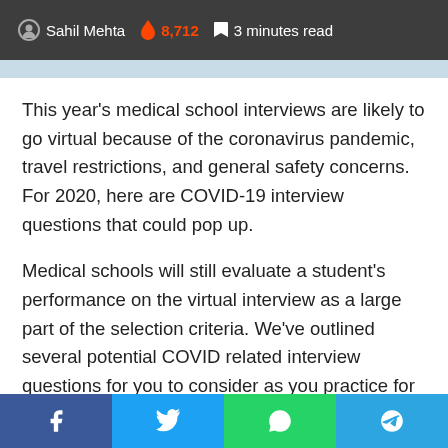Sahil Mehta  8,712  3 minutes read
This year’s medical school interviews are likely to go virtual because of the coronavirus pandemic, travel restrictions, and general safety concerns. For 2020, here are COVID-19 interview questions that could pop up.
Medical schools will still evaluate a student’s performance on the virtual interview as a large part of the selection criteria. We’ve outlined several potential COVID related interview questions for you to consider as you practice for your interview, as well as a strategic approach to each answer.
How has COVID-19 affected